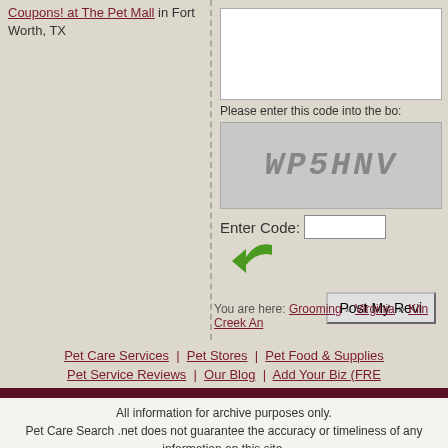Coupons! at The Pet Mall in Fort Worth, TX
[Figure (screenshot): CAPTCHA image showing distorted text 'WP5HNV' on dotted background]
Please enter this code into the box:
Enter Code:
Post My Review
Please note: all reviews are screened for spam
You are here: Grooming » Virginia » Kiln Creek An...
Pet Care Services | Pet Stores | Pet Food & Supplies | Pet Service Reviews | Our Blog | Add Your Biz (FRE...
All information for archive purposes only. Pet Care Search .net does not guarantee the accuracy or timeliness of any information on this site. Use at your own risk.